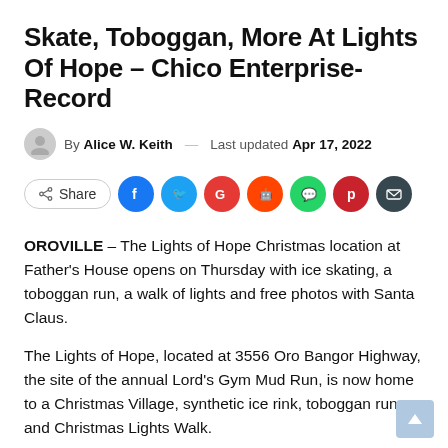Skate, Toboggan, More At Lights Of Hope – Chico Enterprise-Record
By Alice W. Keith — Last updated Apr 17, 2022
[Figure (infographic): Social share bar with Share button and icons for Facebook, Twitter, Google+, Reddit, WhatsApp, Pinterest, and Email]
OROVILLE – The Lights of Hope Christmas location at Father's House opens on Thursday with ice skating, a toboggan run, a walk of lights and free photos with Santa Claus.
The Lights of Hope, located at 3556 Oro Bangor Highway, the site of the annual Lord's Gym Mud Run, is now home to a Christmas Village, synthetic ice rink, toboggan run and Christmas Lights Walk.
The place is open from December 2 to 5; December 9 to 12; and